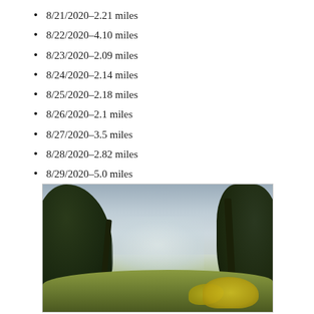8/21/2020–2.21 miles
8/22/2020–4.10 miles
8/23/2020–2.09 miles
8/24/2020–2.14 miles
8/25/2020–2.18 miles
8/26/2020–2.1 miles
8/27/2020–3.5 miles
8/28/2020–2.82 miles
8/29/2020–5.0 miles
[Figure (photo): Outdoor nature photograph showing a misty lake or river visible through a frame of dark trees, with yellow wildflowers and green bushes in the foreground]